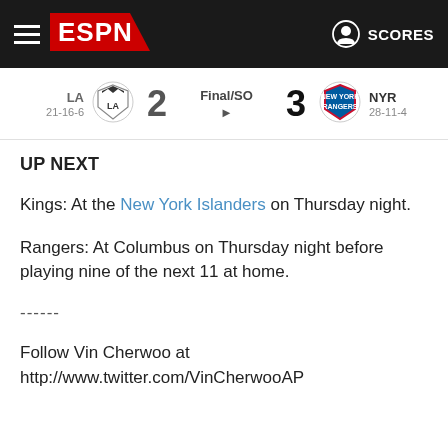ESPN — LA 21-16-6  2  Final/SO  3  NYR 28-11-4
UP NEXT
Kings: At the New York Islanders on Thursday night.
Rangers: At Columbus on Thursday night before playing nine of the next 11 at home.
------
Follow Vin Cherwoo at http://www.twitter.com/VinCherwooAP